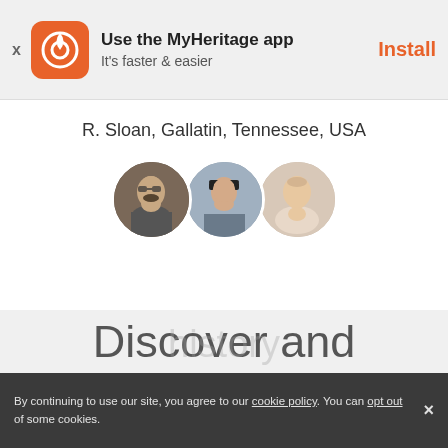[Figure (screenshot): MyHeritage app install banner with orange icon, X close button, app name, subtitle, and Install button]
R. Sloan, Gallatin, Tennessee, USA
[Figure (photo): Three circular profile photo avatars overlapping slightly]
Discover and treasure your unique family history
By continuing to use our site, you agree to our cookie policy. You can opt out of some cookies.